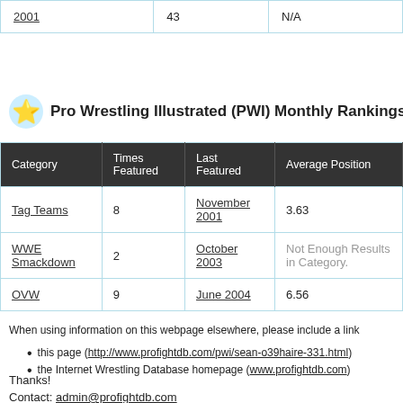| 2001 | 43 | N/A |
Pro Wrestling Illustrated (PWI) Monthly Rankings
| Category | Times Featured | Last Featured | Average Position |
| --- | --- | --- | --- |
| Tag Teams | 8 | November 2001 | 3.63 |
| WWE Smackdown | 2 | October 2003 | Not Enough Results in Category. |
| OVW | 9 | June 2004 | 6.56 |
When using information on this webpage elsewhere, please include a link
this page (http://www.profightdb.com/pwi/sean-o39haire-331.html)
the Internet Wrestling Database homepage (www.profightdb.com)
Thanks!
Contact: admin@profightdb.com